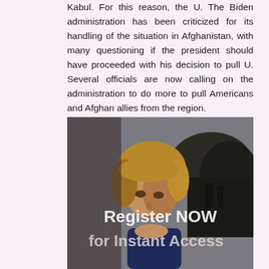Kabul. For this reason, the U. The Biden administration has been criticized for its handling of the situation in Afghanistan, with many questioning if the president should have proceeded with his decision to pull U. Several officials are now calling on the administration to do more to pull Americans and Afghan allies from the region.
[Figure (photo): A woman with short blond hair against a dark outdoor background, with overlay text reading 'Register NOW for Instant Access']